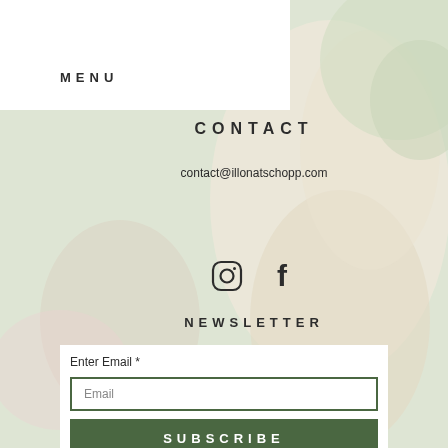[Figure (photo): Background photo of a smiling woman with arm raised, outdoors with green foliage, faded/washed-out overlay]
MENU
CONTACT
contact@illonatschopp.com
[Figure (infographic): Instagram and Facebook social media icons side by side]
NEWSLETTER
Enter Email *
Email
SUBSCRIBE